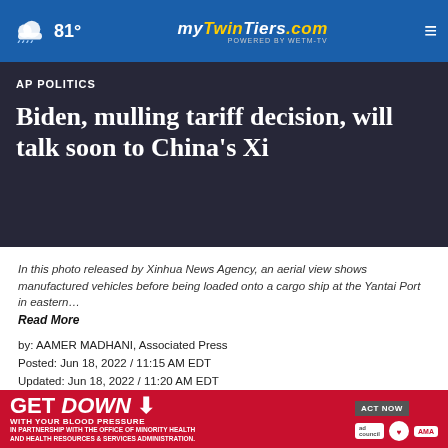81° mytwintiers.com
AP POLITICS
Biden, mulling tariff decision, will talk soon to China's Xi
In this photo released by Xinhua News Agency, an aerial view shows manufactured vehicles before being loaded onto a cargo ship at the Yantai Port in eastern… Read More
by: AAMER MADHANI, Associated Press
Posted: Jun 18, 2022 / 11:15 AM EDT
Updated: Jun 18, 2022 / 11:20 AM EDT
[Figure (infographic): Share bar with Facebook, Twitter, WhatsApp icons and close button]
[Figure (infographic): Advertisement banner: GET DOWN WITH YOUR BLOOD PRESSURE - ACT NOW, with ad council, American Heart Association and AMA logos]